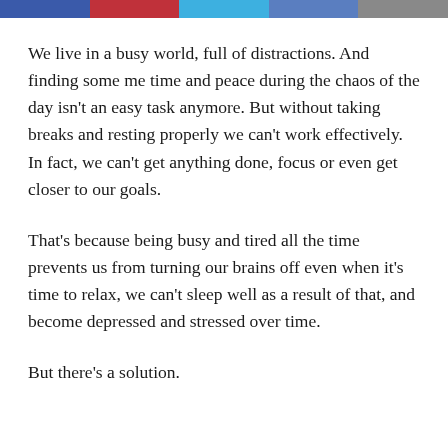[Figure (other): Horizontal color bar strip with five colored segments: dark blue, red, light blue, medium blue, and gray]
We live in a busy world, full of distractions. And finding some me time and peace during the chaos of the day isn't an easy task anymore. But without taking breaks and resting properly we can't work effectively. In fact, we can't get anything done, focus or even get closer to our goals.
That's because being busy and tired all the time prevents us from turning our brains off even when it's time to relax, we can't sleep well as a result of that, and become depressed and stressed over time.
But there's a solution.